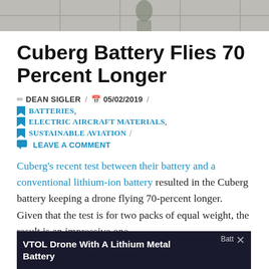[Figure (photo): Top portion of an image showing what appears to be a tiled floor or ceiling with a figure visible]
Cuberg Battery Flies 70 Percent Longer
DEAN SIGLER / 05/02/2019 / BATTERIES, ELECTRIC AIRCRAFT MATERIALS, SUSTAINABLE AVIATION / LEAVE A COMMENT
Cuberg's recent test between their battery and a conventional lithium-ion battery resulted in the Cuberg battery keeping a drone flying 70-percent longer.  Given that the test is for two packs of equal weight, the result is an impressive one.
[Figure (screenshot): Video thumbnail showing 'VTOL Drone With A Lithium Metal Battery' with a dark background and close button]